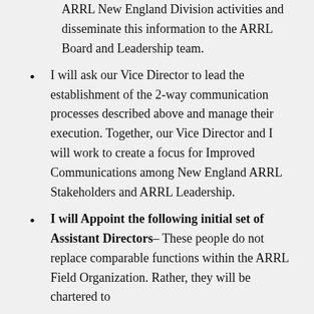ARRL New England Division activities and disseminate this information to the ARRL Board and Leadership team.
I will ask our Vice Director to lead the establishment of the 2-way communication processes described above and manage their execution. Together, our Vice Director and I will work to create a focus for Improved Communications among New England ARRL Stakeholders and ARRL Leadership.
I will Appoint the following initial set of Assistant Directors– These people do not replace comparable functions within the ARRL Field Organization. Rather, they will be chartered to